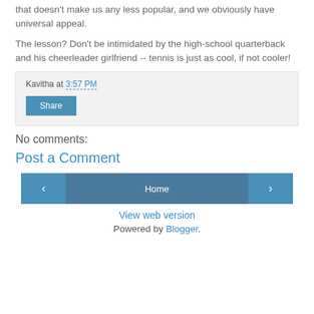that doesn't make us any less popular, and we obviously have universal appeal.
The lesson? Don't be intimidated by the high-school quarterback and his cheerleader girlfriend -- tennis is just as cool, if not cooler!
Kavitha at 3:57 PM
Share
No comments:
Post a Comment
‹  Home  ›
View web version
Powered by Blogger.